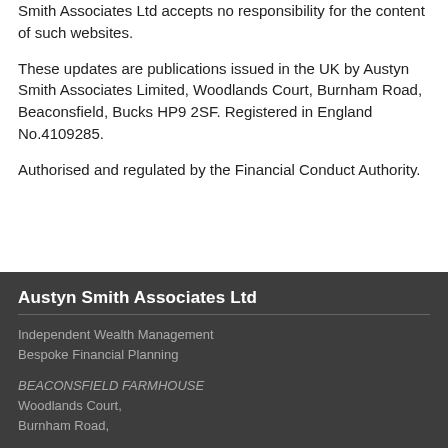Smith Associates Ltd accepts no responsibility for the content of such websites.
These updates are publications issued in the UK by Austyn Smith Associates Limited, Woodlands Court, Burnham Road, Beaconsfield, Bucks HP9 2SF. Registered in England No.4109285.
Authorised and regulated by the Financial Conduct Authority.
Austyn Smith Associates Ltd
Independent Wealth Management
Bespoke Financial Planning
BEACONSFIELD FARMHOUSE
Woodlands Court,
Burnham Road,